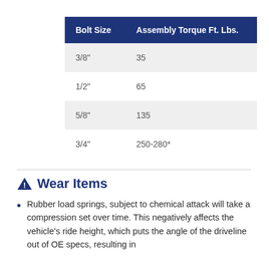| Bolt Size | Assembly Torque Ft. Lbs. |
| --- | --- |
| 3/8" | 35 |
| 1/2" | 65 |
| 5/8" | 135 |
| 3/4" | 250-280* |
⚠ Wear Items
Rubber load springs, subject to chemical attack will take a compression set over time. This negatively affects the vehicle's ride height, which puts the angle of the driveline out of OE specs, resulting in